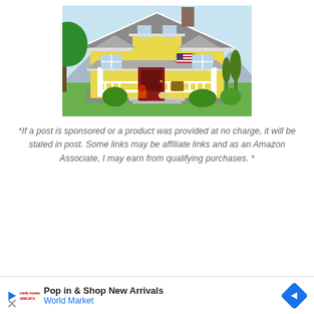[Figure (illustration): Illustration of a yellow craftsman-style house with gray roof, red front door, white porch railings, an American flag, flower pots, a rocking chair, trees and shrubs, against a light blue sky background.]
*If a post is sponsored or a product was provided at no charge, it will be stated in post. Some links may be affiliate links and as an Amazon Associate, I may earn from qualifying purchases. *
[Figure (screenshot): Advertisement bar: Play button icon and X icon on left, Rack Room Shoes logo, text 'Pop in & Shop New Arrivals' and 'World Market' in blue, and a blue diamond navigation arrow icon on right.]